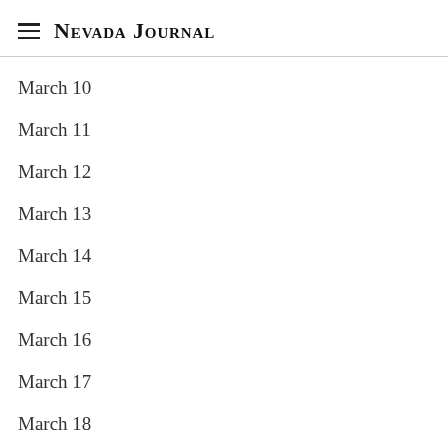Nevada Journal
March 10
March 11
March 12
March 13
March 14
March 15
March 16
March 17
March 18